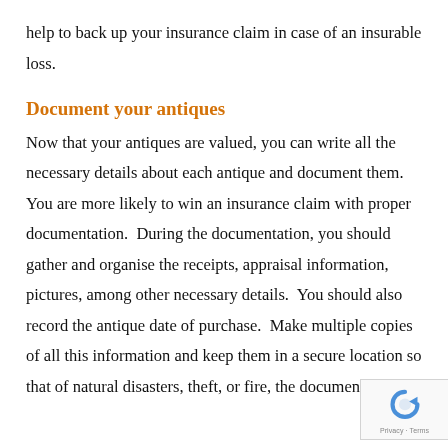help to back up your insurance claim in case of an insurable loss.
Document your antiques
Now that your antiques are valued, you can write all the necessary details about each antique and document them.  You are more likely to win an insurance claim with proper documentation.  During the documentation, you should gather and organise the receipts, appraisal information, pictures, among other necessary details.  You should also record the antique date of purchase.  Make multiple copies of all this information and keep them in a secure location so that of natural disasters, theft, or fire, the documentation is